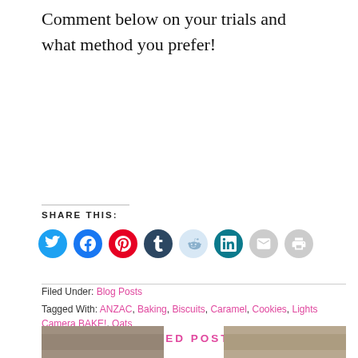Comment below on your trials and what method you prefer!
SHARE THIS:
[Figure (infographic): Row of social share icon buttons: Twitter (blue), Facebook (blue), Pinterest (red), Tumblr (dark navy), Reddit (light blue), LinkedIn (teal), Email (light gray), Print (light gray)]
Filed Under: Blog Posts
Tagged With: ANZAC, Baking, Biscuits, Caramel, Cookies, Lights Camera BAKE!, Oats
RELATED POSTS
[Figure (photo): Two thumbnail images side by side at the bottom of the page]